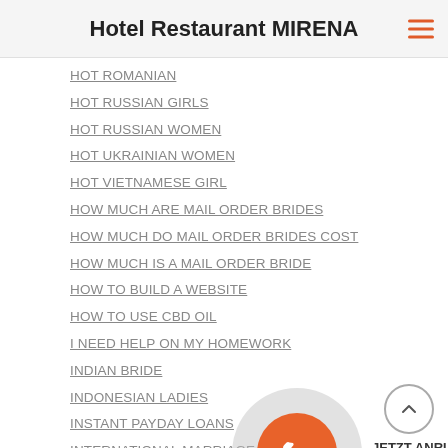Hotel Restaurant MIRENA
HOT ROMANIAN
HOT RUSSIAN GIRLS
HOT RUSSIAN WOMEN
HOT UKRAINIAN WOMEN
HOT VIETNAMESE GIRL
HOW MUCH ARE MAIL ORDER BRIDES
HOW MUCH DO MAIL ORDER BRIDES COST
HOW MUCH IS A MAIL ORDER BRIDE
HOW TO BUILD A WEBSITE
HOW TO USE CBD OIL
I NEED HELP ON MY HOMEWORK
INDIAN BRIDE
INDONESIAN LADIES
INSTANT PAYDAY LOANS
INTERNATIONAL MARRIAGE
INTERNET MARKETING
INTERRACIAL DATING ONLINE
IRANIAN WOMEN FOR MARRIAGE
JAPANESE WIFE